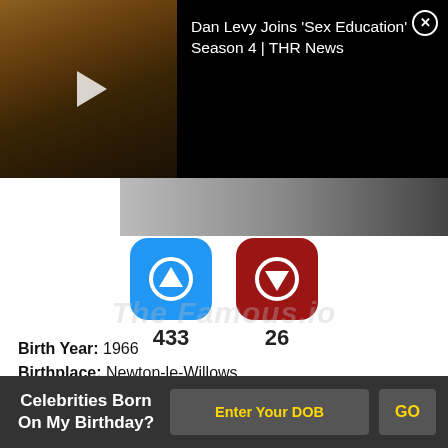[Figure (screenshot): Video thumbnail showing Dan Levy seated, with play button overlay, on black background with text: Dan Levy Joins 'Sex Education' Season 4 | THR News, and close X button]
[Figure (infographic): Two voting buttons: blue upvote icon showing 433 votes, red downvote icon showing 26 votes. Watermark text 'The Famous.io' visible behind.]
Birth Year: 1966
Birthplace: Newton-le-Willows
Rick Astley went from being a high-school drop-out and a driver, to becoming a music sensation. He turned into a global phenomenon with his 1987 track
Celebrities Born On My Birthday? | Enter Your DOB | GO